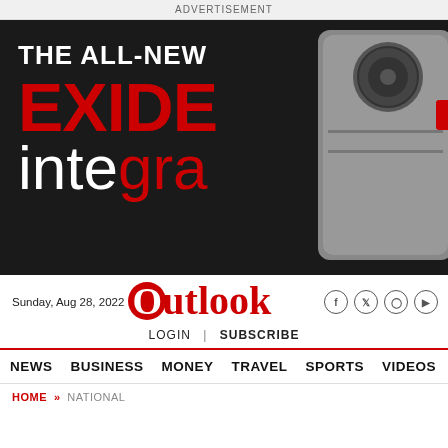ADVERTISEMENT
[Figure (illustration): Advertisement banner for Exide Integra product on dark background. Shows text 'THE ALL-NEW EXIDE integra' with EXIDE in bold red and 'tegra' in red, 'inte' in white. A product device is partially visible on the right side.]
Sunday, Aug 28, 2022  Outlook  LOGIN | SUBSCRIBE
NEWS  BUSINESS  MONEY  TRAVEL  SPORTS  VIDEOS
HOME » NATIONAL